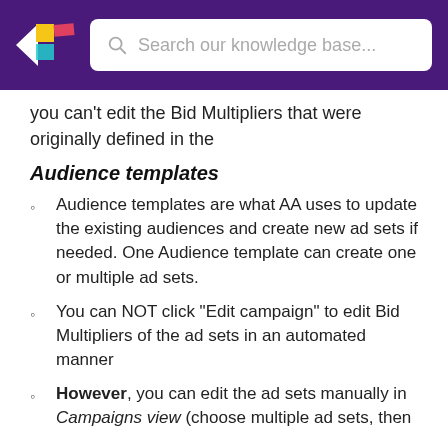Search our knowledge base...
you can't edit the Bid Multipliers that were originally defined in the
Audience templates
Audience templates are what AA uses to update the existing audiences and create new ad sets if needed. One Audience template can create one or multiple ad sets.
You can NOT click "Edit campaign" to edit Bid Multipliers of the ad sets in an automated manner
However, you can edit the ad sets manually in Campaigns view (choose multiple ad sets, then